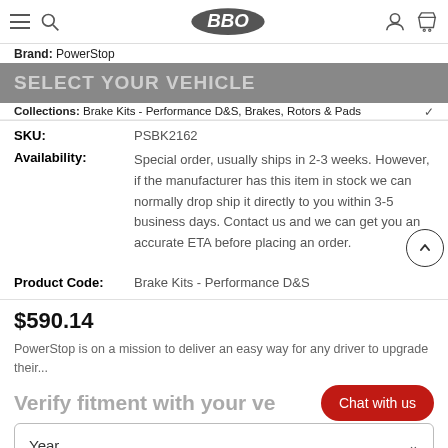Brand: PowerStop
Collections: Brake Kits - Performance D&S, Brakes, Rotors & Pads
| SKU: | PSBK2162 |
| Availability: | Special order, usually ships in 2-3 weeks. However, if the manufacturer has this item in stock we can normally drop ship it directly to you within 3-5 business days. Contact us and we can get you an accurate ETA before placing an order. |
| Product Code: | Brake Kits - Performance D&S |
$590.14
PowerStop is on a mission to deliver an easy way for any driver to upgrade their...
Verify fitment with your ve
Chat with us
Year